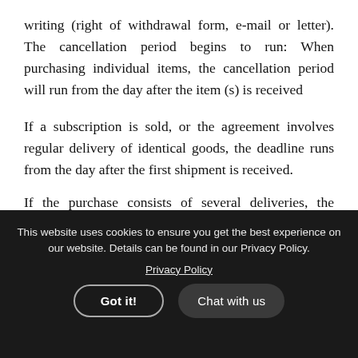writing (right of withdrawal form, e-mail or letter). The cancellation period begins to run: When purchasing individual items, the cancellation period will run from the day after the item (s) is received
If a subscription is sold, or the agreement involves regular delivery of identical goods, the deadline runs from the day after the first shipment is received.
If the purchase consists of several deliveries, the cancellation
This website uses cookies to ensure you get the best experience on our website. Details can be found in our Privacy Policy.
Privacy Policy
Got it!
Chat with us